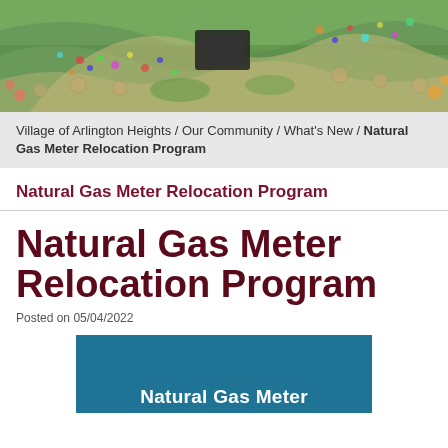[Figure (photo): Aerial photograph of a community outdoor event with people seated at round tables on a curved pathway surrounded by greenery]
Village of Arlington Heights / Our Community / What's New / Natural Gas Meter Relocation Program
Natural Gas Meter Relocation Program
Natural Gas Meter Relocation Program
Posted on 05/04/2022
[Figure (infographic): Teal/dark blue rectangle with white text reading 'Natural Gas Meter' at the bottom, part of a program information graphic]